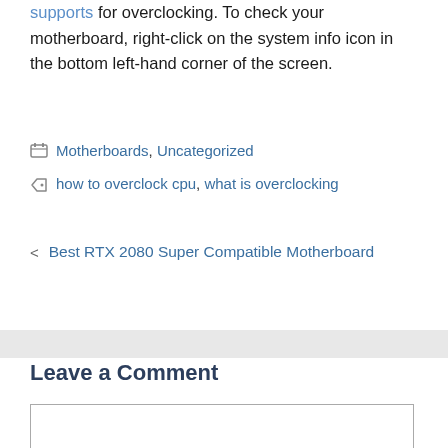supports for overclocking. To check your motherboard, right-click on the system info icon in the bottom left-hand corner of the screen.
Categories: Motherboards, Uncategorized
Tags: how to overclock cpu, what is overclocking
< Best RTX 2080 Super Compatible Motherboard
Leave a Comment